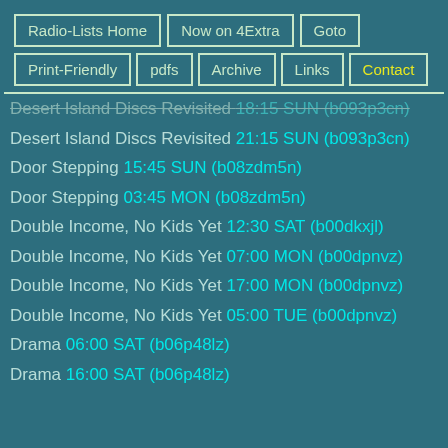Radio-Lists Home
Now on 4Extra
Goto
Print-Friendly
pdfs
Archive
Links
Contact
Desert Island Discs Revisited 18:15 SUN (b093p3cn)
Desert Island Discs Revisited 21:15 SUN (b093p3cn)
Door Stepping 15:45 SUN (b08zdm5n)
Door Stepping 03:45 MON (b08zdm5n)
Double Income, No Kids Yet 12:30 SAT (b00dkxjl)
Double Income, No Kids Yet 07:00 MON (b00dpnvz)
Double Income, No Kids Yet 17:00 MON (b00dpnvz)
Double Income, No Kids Yet 05:00 TUE (b00dpnvz)
Drama 06:00 SAT (b06p48lz)
Drama 16:00 SAT (b06p48lz)